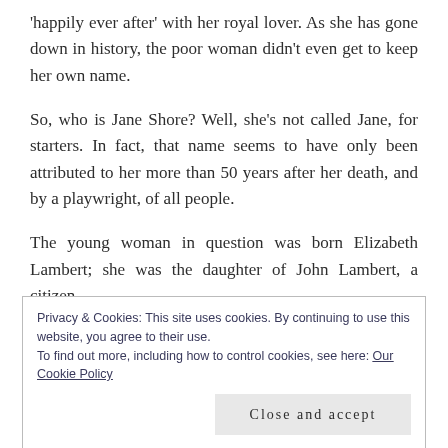'happily ever after' with her royal lover. As she has gone down in history, the poor woman didn't even get to keep her own name.
So, who is Jane Shore? Well, she's not called Jane, for starters. In fact, that name seems to have only been attributed to her more than 50 years after her death, and by a playwright, of all people.
The young woman in question was born Elizabeth Lambert; she was the daughter of John Lambert, a citizen
Privacy & Cookies: This site uses cookies. By continuing to use this website, you agree to their use.
To find out more, including how to control cookies, see here: Our Cookie Policy
Close and accept
Shore, a London goldsmith.